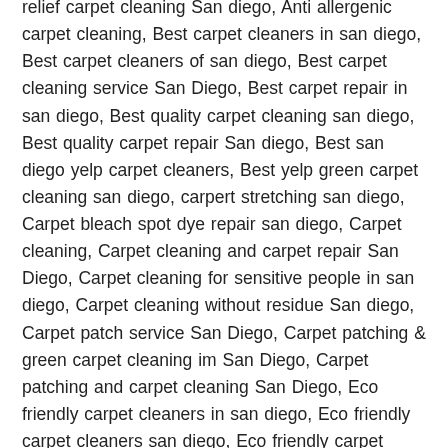relief carpet cleaning San diego, Anti allergenic carpet cleaning, Best carpet cleaners in san diego, Best carpet cleaners of san diego, Best carpet cleaning service San Diego, Best carpet repair in san diego, Best quality carpet cleaning san diego, Best quality carpet repair San diego, Best san diego yelp carpet cleaners, Best yelp green carpet cleaning san diego, carpert stretching san diego, Carpet bleach spot dye repair san diego, Carpet cleaning, Carpet cleaning and carpet repair San Diego, Carpet cleaning for sensitive people in san diego, Carpet cleaning without residue San diego, Carpet patch service San Diego, Carpet patching & green carpet cleaning im San Diego, Carpet patching and carpet cleaning San Diego, Eco friendly carpet cleaners in san diego, Eco friendly carpet cleaners san diego, Eco friendly carpet cleaning mira mesa, Eco friendly carpet cleaning Scripps Ranch, Eco friendly carpet cleaning service in san diego, Eco friendly carpet cleaning talmadge, Environmentally friendly carpet cleaning san diego, Fast dry carpet cleaning in San Diego, Fast Dry Carpet Cleaning San Diego, Fast dry carpet